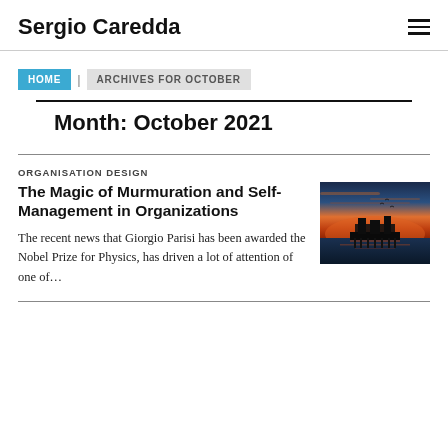Sergio Caredda
HOME | ARCHIVES FOR OCTOBER
Month: October 2021
ORGANISATION DESIGN
The Magic of Murmuration and Self-Management in Organizations
[Figure (photo): Sunset photo of a pier/bridge silhouette against an orange and blue sky over water]
The recent news that Giorgio Parisi has been awarded the Nobel Prize for Physics, has driven a lot of attention of one of...